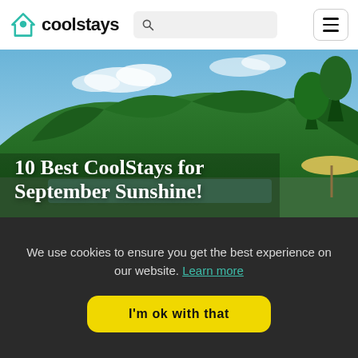coolstays
[Figure (photo): Outdoor landscape photo showing a green hillside with trees, blue sky with clouds, and a poolside area with umbrellas and lounge chairs. A large text overlay reads '10 Best CoolStays for September Sunshine!']
10 Best CoolStays for September Sunshine!
We use cookies to ensure you get the best experience on our website. Learn more
I'm ok with that